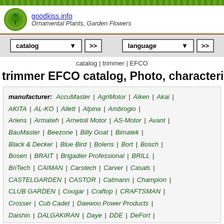goodkiss.info — Ornamental Plants, Garden Flowers
catalog >> | language >>
catalog | trimmer | EFCO
trimmer EFCO catalog, Photo, characteristics
manufacturer: AccuMaster | AgriMotor | Aiken | Akai | AKITA | AL-KO | Allett | Alpina | Ambrogio | Ariens | Armateh | Arnetoli Motor | AS-Motor | Avant | BauMaster | Beezone | Billy Goat | Bimatek | Black & Decker | Blue Bird | Bolens | Bort | Bosch | Bosen | BRAIT | Brigadier Professional | BRILL | BriTech | CAIMAN | Carstech | Carver | Casals | CASTELGARDEN | CASTOR | Catmann | Champion | CLUB GARDEN | Cougar | Craftop | CRAFTSMAN | Crosser | Cub Cadet | Daewoo Power Products | Daishin | DALGAKIRAN | Daye | DDE | DeFort